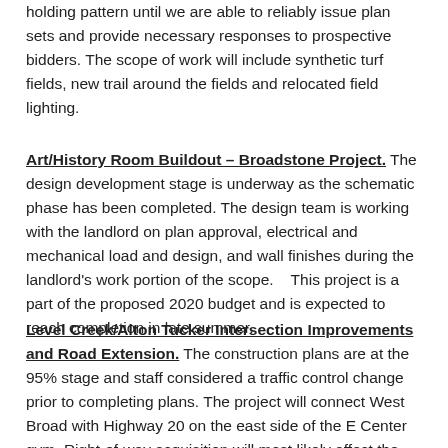holding pattern until we are able to reliably issue plan sets and provide necessary responses to prospective bidders.  The scope of work will include synthetic turf fields, new trail around the fields and relocated field lighting.
Art/History Room Buildout – Broadstone Project.  The design development stage is underway as the schematic phase has been completed.  The design team is working with the landlord on plan approval, electrical and mechanical load and design, and wall finishes during the landlord's work portion of the scope.    This project is a part of the proposed 2020 budget and is expected to reach completion in late summer.
Level Creek/Alton Tucker Intersection Improvements and Road Extension.  The construction plans are at the 95% stage and staff considered a traffic control change prior to completing plans.  The project will connect West Broad with Highway 20 on the east side of the E Center gym.  Right-of-way acquisition will most likely affect the construction schedule for this project.